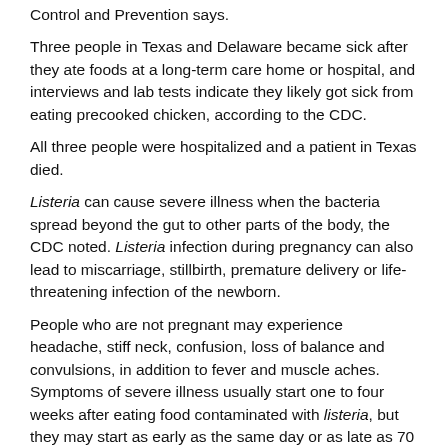Control and Prevention says.
Three people in Texas and Delaware became sick after they ate foods at a long-term care home or hospital, and interviews and lab tests indicate they likely got sick from eating precooked chicken, according to the CDC.
All three people were hospitalized and a patient in Texas died.
Listeria can cause severe illness when the bacteria spread beyond the gut to other parts of the body, the CDC noted. Listeria infection during pregnancy can also lead to miscarriage, stillbirth, premature delivery or life-threatening infection of the newborn.
People who are not pregnant may experience headache, stiff neck, confusion, loss of balance and convulsions, in addition to fever and muscle aches. Symptoms of severe illness usually start one to four weeks after eating food contaminated with listeria, but they may start as early as the same day or as late as 70 days after exposure.
The actual number of people affected by this latest listeria outbreak is likely higher than the reported number, and the outbreak may not be limited to states with known illnesses, the CDC said.
Some people recover without medical care and are not tested for listeria, the agency explained.